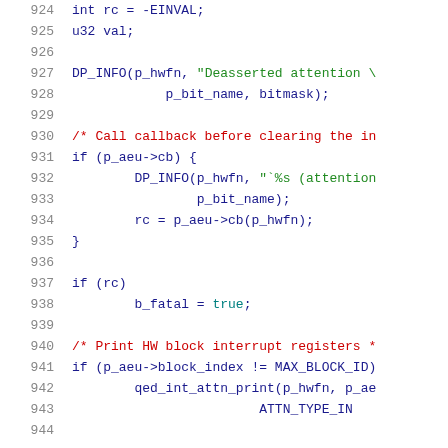Source code listing, lines 924-944, C language kernel/driver code
924     int rc = -EINVAL;
925     u32 val;
926
927     DP_INFO(p_hwfn, "Deasserted attention \
928             p_bit_name, bitmask);
929
930     /* Call callback before clearing the in
931     if (p_aeu->cb) {
932             DP_INFO(p_hwfn, "`%s (attention
933                     p_bit_name);
934             rc = p_aeu->cb(p_hwfn);
935     }
936
937     if (rc)
938             b_fatal = true;
939
940     /* Print HW block interrupt registers *
941     if (p_aeu->block_index != MAX_BLOCK_ID)
942             qed_int_attn_print(p_hwfn, p_ae
943                             ATTN_TYPE_IN
944